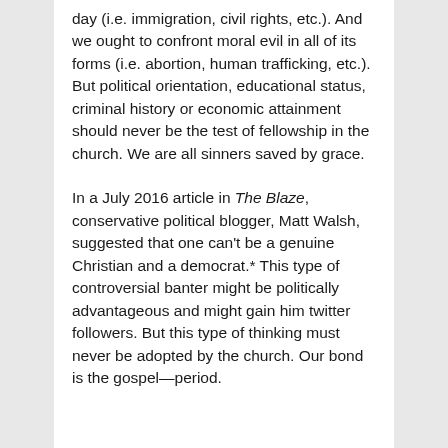day (i.e. immigration, civil rights, etc.). And we ought to confront moral evil in all of its forms (i.e. abortion, human trafficking, etc.). But political orientation, educational status, criminal history or economic attainment should never be the test of fellowship in the church. We are all sinners saved by grace.
In a July 2016 article in The Blaze, conservative political blogger, Matt Walsh, suggested that one can't be a genuine Christian and a democrat.* This type of controversial banter might be politically advantageous and might gain him twitter followers. But this type of thinking must never be adopted by the church. Our bond is the gospel—period.